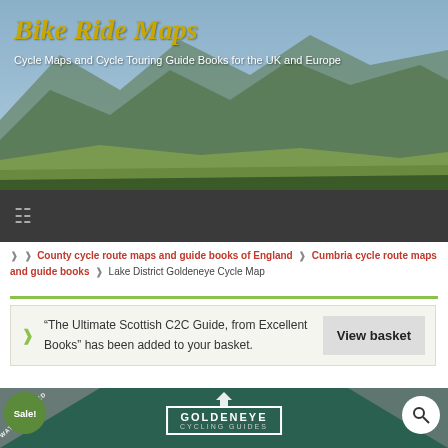Bike Ride Maps – Cycle Maps and Cycle Touring Guide Books for the UK and Europe
County cycle route maps and guide books of England › Cumbria cycle route maps and guide books › Lake District Goldeneye Cycle Map
"The Ultimate Scottish C2C Guide, from Excellent Books" has been added to your basket.
[Figure (screenshot): Green Goldeneye Cycling Guides product banner with Sale! badge, LAMINATED WATERPROOF corner banner, bird logo, and GOLDENEYE CYCLING GUIDES text in white border box]